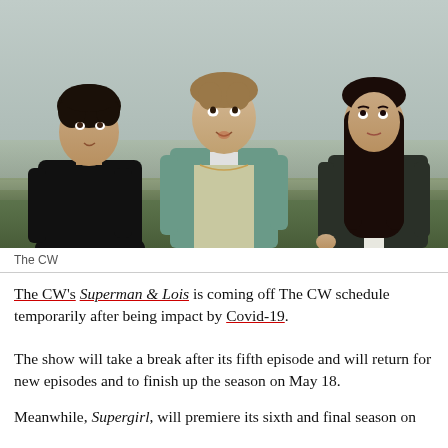[Figure (photo): Three young people standing outdoors in a field looking upward. Left: young man in black sweater with curly dark hair. Center: young man in teal/white track jacket and beige shirt. Right: young woman in dark leather jacket with long dark hair. Sky and green field in background.]
The CW
The CW's Superman & Lois is coming off The CW schedule temporarily after being impact by Covid-19.
The show will take a break after its fifth episode and will return for new episodes and to finish up the season on May 18.
Meanwhile, Supergirl, will premiere its sixth and final season on Tuesday, March 30 in that same time slot.